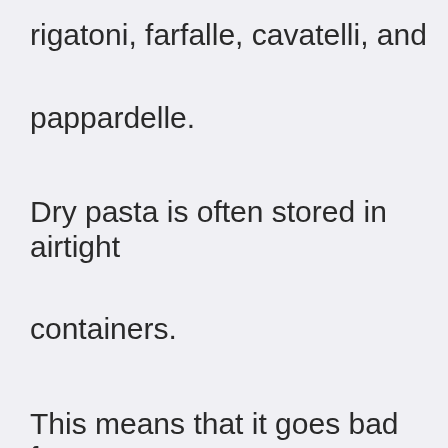rigatoni, farfalle, cavatelli, and pappardelle. Dry pasta is often stored in airtight containers. This means that it goes bad faster than other foods because it loses moisture. Once it gets wet, it becomes soggy and moldy.